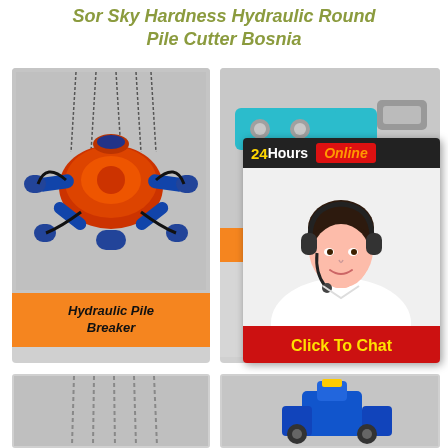Sor Sky Hardness Hydraulic Round Pile Cutter Bosnia
[Figure (photo): Hydraulic pile breaker machine with orange and blue components, suspended by chains]
Hydraulic Pile Breaker
[Figure (photo): Teal/cyan colored hydraulic round pile cutter bracket component]
[Figure (infographic): 24 Hours Online chat widget overlay with a woman wearing a headset and Click To Chat button]
[Figure (photo): Bottom left product showing chains - partial view]
[Figure (photo): Bottom right product showing blue hydraulic machinery - partial view]